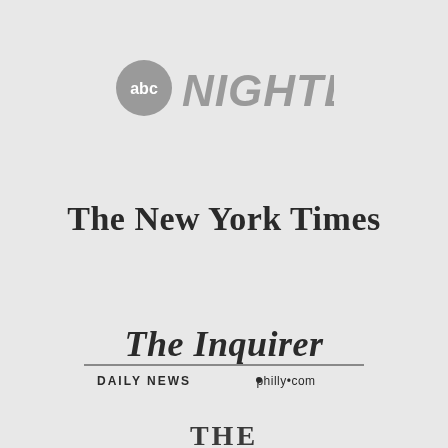[Figure (logo): ABC Nightline logo in gray]
[Figure (logo): The New York Times logo in dark serif blackletter font]
[Figure (logo): The Inquirer / Daily News / philly.com logo in dark blackletter font]
[Figure (logo): Partial logo at bottom, serif caps, partially cut off]